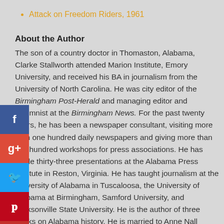Attack on Freedom Riders, 1961
About the Author
The son of a country doctor in Thomaston, Alabama, Clarke Stallworth attended Marion Institute, Emory University, and received his BA in journalism from the University of North Carolina. He was city editor of the Birmingham Post-Herald and managing editor and columnist at the Birmingham News. For the past twenty years, he has been a newspaper consultant, visiting more than one hundred daily newspapers and giving more than five hundred workshops for press associations. He has made thirty-three presentations at the Alabama Press Institute in Reston, Virginia. He has taught journalism at the University of Alabama in Tuscaloosa, the University of Alabama at Birmingham, Samford University, and Jacksonville State University. He is the author of three books on Alabama history. He is married to Anne Nall Stallworth, author of three published novels. They have two children and three grandchildren.